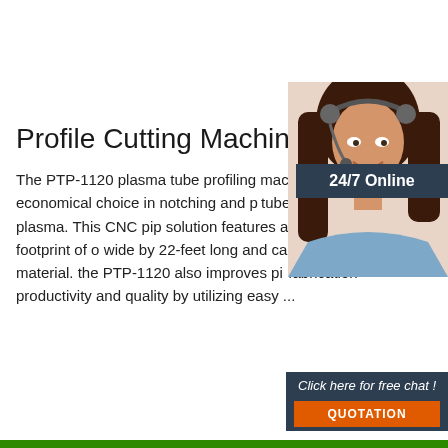[Figure (photo): Customer service representative woman with headset smiling, with dark background chat widget overlay showing 24/7 Online label, Click here for free chat text, and QUOTATION button]
Profile Cutting Machine
The PTP-1120 plasma tube profiling machine is the economical choice in notching and profiling tube and pipe with plasma. This CNC pipe cutting solution features a compact footprint of only 6-feet wide by 22-feet long and can rapidly finish cuts on material. the PTP-1120 also improves pipe and tube fabrication productivity and quality by utilizing easy ...
Get Price